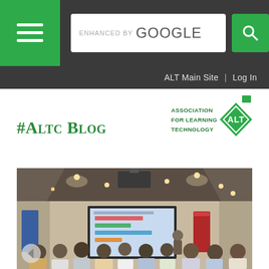Navigation bar with hamburger menu, Google enhanced search bar, ALT Main Site | Log In links
#Altc Blog
[Figure (logo): Association for Learning Technology (ALT) logo — green diamond shape with ALT text inside, and text 'Association for Learning Technology' to the left]
[Figure (photo): Conference room photograph showing an audience seated and facing a presenter at the front, with a projection screen displaying a slide with coloured bar charts, ceiling spotlights visible, a blue banner on the left and red banner on the right]